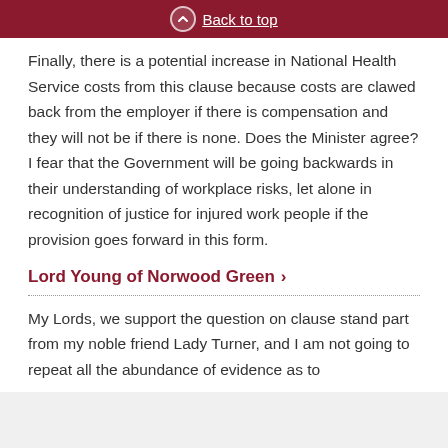Back to top
Finally, there is a potential increase in National Health Service costs from this clause because costs are clawed back from the employer if there is compensation and they will not be if there is none. Does the Minister agree? I fear that the Government will be going backwards in their understanding of workplace risks, let alone in recognition of justice for injured work people if the provision goes forward in this form.
Lord Young of Norwood Green
My Lords, we support the question on clause stand part from my noble friend Lady Turner, and I am not going to repeat all the abundance of evidence as to